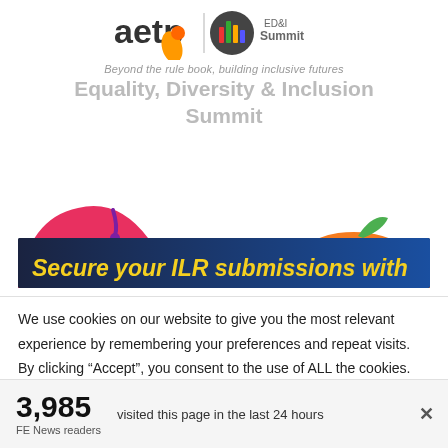[Figure (logo): aetp logo with colorful building/people icon and 'ED&I Summit' text. Subtitle: 'Beyond the rule book, building inclusive futures']
Equality, Diversity & Inclusion Summit
[Figure (illustration): Decorative illustration with pink and orange blob shapes, dark banner with yellow text 'Secure your ILR submissions with']
We use cookies on our website to give you the most relevant experience by remembering your preferences and repeat visits. By clicking “Accept”, you consent to the use of ALL the cookies. However you may visit Cookie
3,985 FE News readers visited this page in the last 24 hours